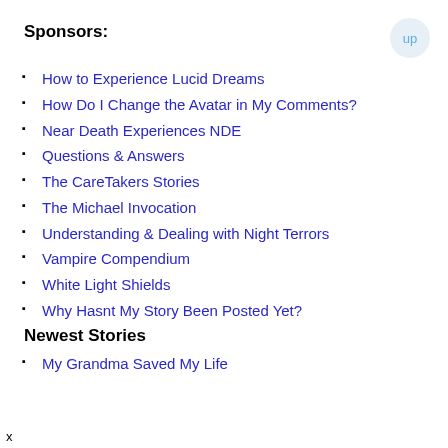Sponsors:
How to Experience Lucid Dreams
How Do I Change the Avatar in My Comments?
Near Death Experiences NDE
Questions & Answers
The CareTakers Stories
The Michael Invocation
Understanding & Dealing with Night Terrors
Vampire Compendium
White Light Shields
Why Hasnt My Story Been Posted Yet?
Newest Stories
My Grandma Saved My Life